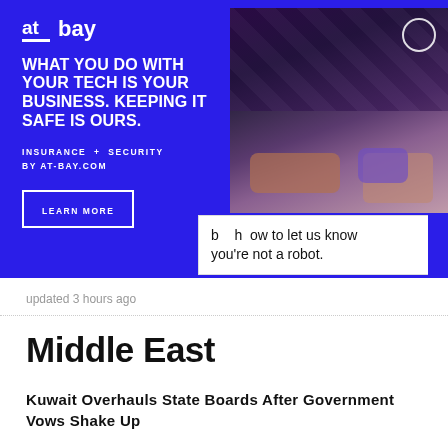[Figure (infographic): At-Bay insurance advertisement with blue background, logo, headline text, and photo of tattoo artist at work]
b… how to let us know you're not a robot.
updated 3 hours ago
Middle East
Kuwait Overhauls State Boards After Government Vows Shake Up